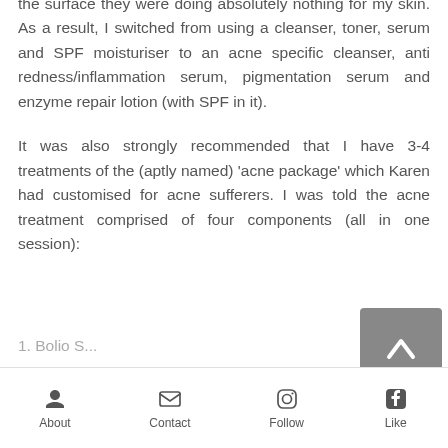the surface they were doing absolutely nothing for my skin. As a result, I switched from using a cleanser, toner, serum and SPF moisturiser to an acne specific cleanser, anti redness/inflammation serum, pigmentation serum and enzyme repair lotion (with SPF in it).
It was also strongly recommended that I have 3-4 treatments of the (aptly named) 'acne package' which Karen had customised for acne sufferers. I was told the acne treatment comprised of four components (all in one session):
1. Bolio S...
[Figure (other): Scroll-to-top button with upward chevron arrow on grey background]
About  Contact  Follow  Like